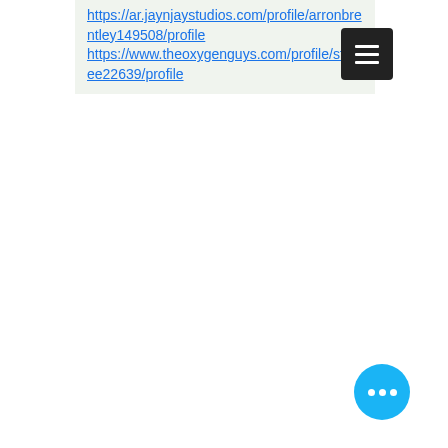https://ar.jaynjaystudios.com/profile/arronbrentley149508/profile
https://www.theoxygenguys.com/profile/styree22639/profile
[Figure (screenshot): Dark square button with three horizontal white lines (hamburger menu icon)]
[Figure (screenshot): Round blue floating action button with three white dots (ellipsis/more options icon)]